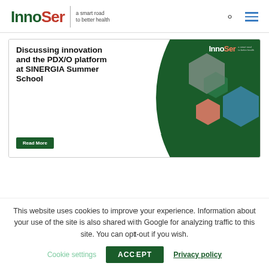InnoSer — a smart road to better health
[Figure (illustration): InnoSer promotional banner showing bold text 'Discussing innovation and the PDX/O platform at SINERGIA Summer School' with a Read More button, hexagonal images of a scientist and a glowing lightbulb, and InnoSer branding on a dark green curved background.]
This website uses cookies to improve your experience. Information about your use of the site is also shared with Google for analyzing traffic to this site. You can opt-out if you wish.
Cookie settings   ACCEPT   Privacy policy